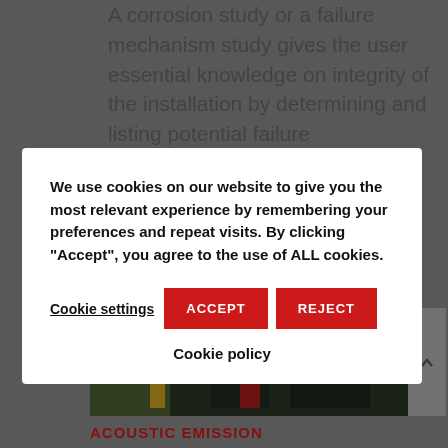A corrosion study or a failure mechanism study gives the user essential knowledge on integrity of the installation by determining and listing potential failure mechanisms. The output of a failure mechanism [...]
[Figure (photo): Outdoor industrial/engineering equipment photo with vegetation and dark mechanical components visible]
ACOUSTIC EMISSION
We use cookies on our website to give you the most relevant experience by remembering your preferences and repeat visits. By clicking "Accept", you agree to the use of ALL cookies.
Cookie settings | ACCEPT | REJECT
Cookie policy